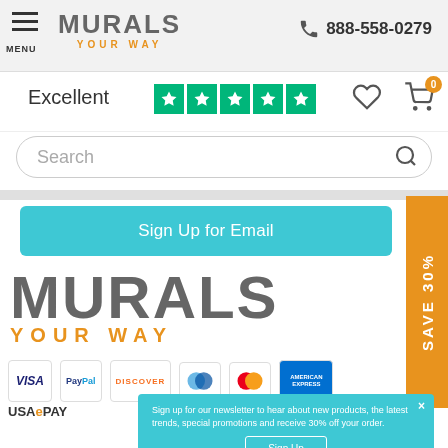[Figure (screenshot): Murals Your Way website header with hamburger menu, logo, and phone number 888-558-0279]
[Figure (screenshot): Trustpilot Excellent rating with 5 green stars, heart icon, and shopping cart with 0 badge]
[Figure (screenshot): Search bar with rounded border and magnifying glass icon]
[Figure (screenshot): Teal Sign Up for Email button and orange SAVE 30% vertical tab]
[Figure (logo): Large Murals Your Way logo - MURALS in gray, YOUR WAY in orange]
[Figure (screenshot): Payment method icons: Visa, PayPal, Discover, Maestro, MasterCard, American Express]
[Figure (screenshot): Newsletter signup popup in teal: Sign up for our newsletter to hear about new products, the latest trends, special promotions and receive 30% off your order. With Sign Up button and No thanks link.]